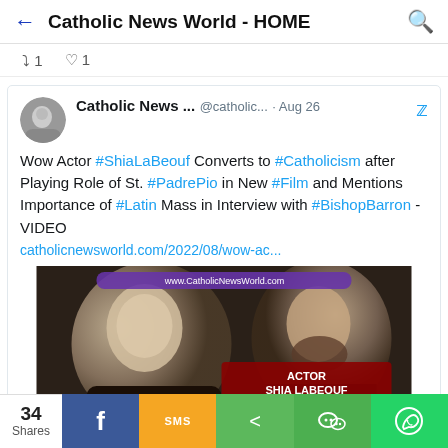Catholic News World - HOME
⟳ 1  ♡ 1
Catholic News ...  @catholic...  · Aug 26
Wow Actor #ShiaLaBeouf Converts to #Catholicism after Playing Role of St. #PadrePio in New #Film and Mentions Importance of #Latin Mass in Interview with #BishopBarron - VIDEO
catholicnewsworld.com/2022/08/wow-ac...
[Figure (photo): Thumbnail image showing Padre Pio on the left and Shia LaBeouf on the right, with text overlay 'ACTOR SHIA LABEOUF Converts to Catholicism after Playing St. Padre Pio']
34 Shares